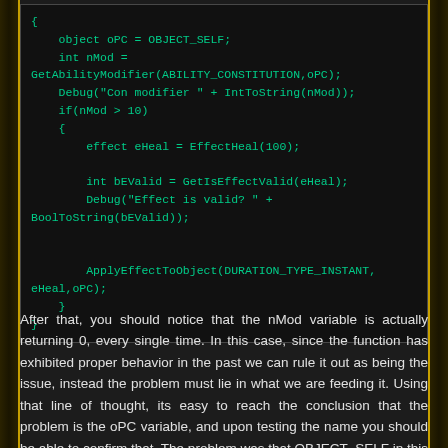[Figure (screenshot): Code block showing NWScript code with object oPC, nMod, debug statements, effect eHeal, bEValid, and ApplyEffectToObject call]
After that, you should notice that the nMod variable is actually returning 0, every single time. In this case, since the function has exhibited proper behavior in the past we can rule it out as being the issue, instead the problem must lie in what we are feeding it. Using that line of thought, its easy to reach the conclusion that the problem is the oPC variable, and upon testing the name you should be able to confirm that. The problem was that OBJECT_SELF in this context is the module object (basically "the game"), and you need a